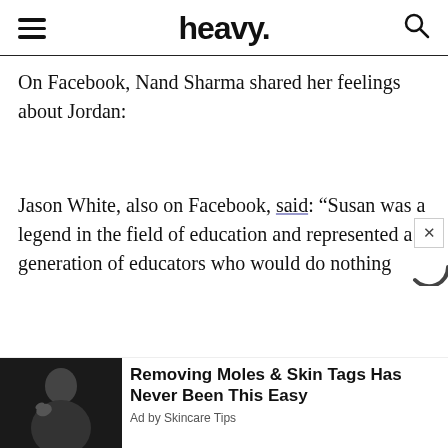heavy.
On Facebook, Nand Sharma shared her feelings about Jordan:
Jason White, also on Facebook, said: “Susan was a legend in the field of education and represented a generation of educators who would do nothing
[Figure (photo): Photo of a man touching his face, used in advertisement]
Removing Moles & Skin Tags Has Never Been This Easy
Ad by Skincare Tips